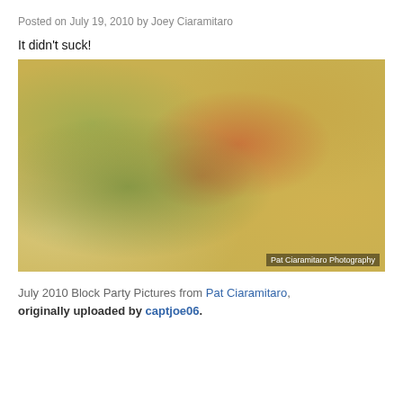Posted on July 19, 2010 by Joey Ciaramitaro
It didn't suck!
[Figure (photo): A close-up photograph of a creamy risotto dish topped with sliced green onions, red tomato pieces, and leafy greens, served on a white plate. Photo credit: Pat Ciaramitaro Photography]
July 2010 Block Party Pictures from Pat Ciaramitaro, originally uploaded by captjoe06.